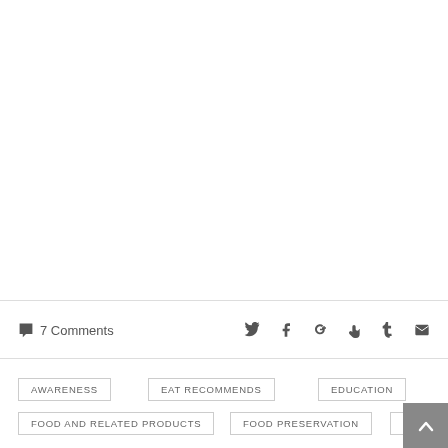7 Comments
AWARENESS
EAT RECOMMENDS
EDUCATION
FOOD AND RELATED PRODUCTS
FOOD PRESERVATION
HOW-TO